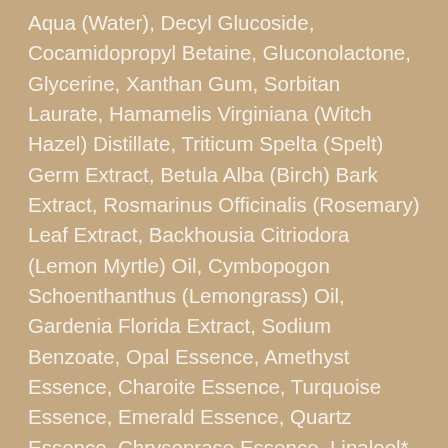Aqua (Water), Decyl Glucoside, Cocamidopropyl Betaine, Gluconolactone, Glycerine, Xanthan Gum, Sorbitan Laurate, Hamamelis Virginiana (Witch Hazel) Distillate, Triticum Spelta (Spelt) Germ Extract, Betula Alba (Birch) Bark Extract, Rosmarinus Officinalis (Rosemary) Leaf Extract, Backhousia Citriodora (Lemon Myrtle) Oil, Cymbopogon Schoenthanthus (Lemongrass) Oil, Gardenia Florida Extract, Sodium Benzoate, Opal Essence, Amethyst Essence, Charoite Essence, Turquoise Essence, Emerald Essence, Quartz Essence, Chrysoprase Essence, Linalool*, Citral*. *From Natural Essential Oils.”
My Description & Thoughts:
This body wash is gentle and cleanses my skin